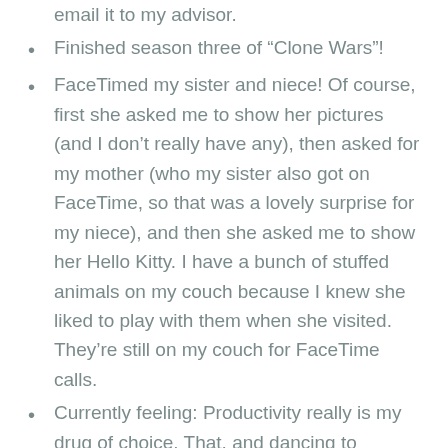email it to my advisor.
Finished season three of “Clone Wars”!
FaceTimed my sister and niece! Of course, first she asked me to show her pictures (and I don’t really have any), then asked for my mother (who my sister also got on FaceTime, so that was a lovely surprise for my niece), and then she asked me to show her Hello Kitty. I have a bunch of stuffed animals on my couch because I knew she liked to play with them when she visited. They’re still on my couch for FaceTime calls.
Currently feeling: Productivity really is my drug of choice. That, and dancing to acoustic renditions of metal songs while I brainstorm dissertation things.
Currently looping: Ad Infinitum’s acoustic version of “I Am the Storm.”